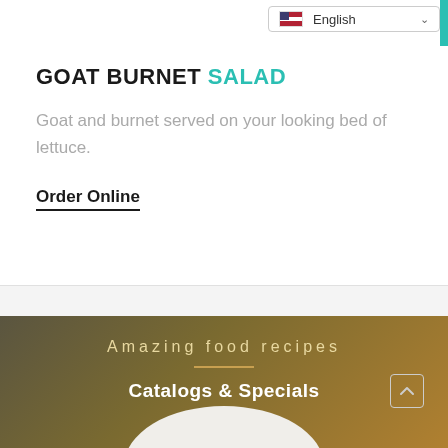English
GOAT BURNET SALAD
Goat and burnet served on your looking bed of lettuce.
Order Online
Amazing food recipes
Catalogs & Specials
[Figure (photo): Bottom portion of a white plate visible at the bottom of the page]